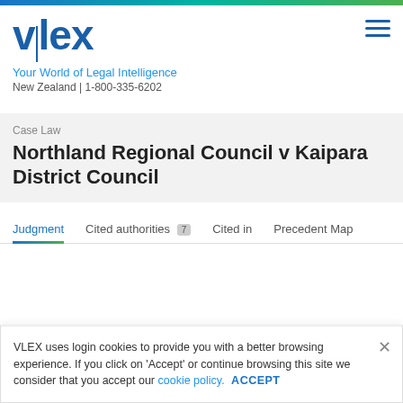[Figure (logo): vlex logo — stylized text 'v|lex' in dark blue with vertical divider bar]
Your World of Legal Intelligence
New Zealand | 1-800-335-6202
Case Law
Northland Regional Council v Kaipara District Council
Judgment
Cited authorities 7
Cited in
Precedent Map
VLEX uses login cookies to provide you with a better browsing experience. If you click on 'Accept' or continue browsing this site we consider that you accept our cookie policy. ACCEPT